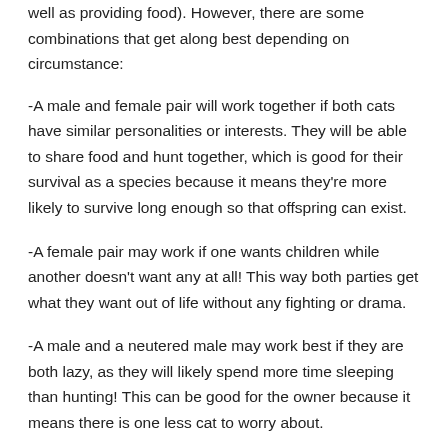well as providing food). However, there are some combinations that get along best depending on circumstance:
-A male and female pair will work together if both cats have similar personalities or interests. They will be able to share food and hunt together, which is good for their survival as a species because it means they're more likely to survive long enough so that offspring can exist.
-A female pair may work if one wants children while another doesn't want any at all! This way both parties get what they want out of life without any fighting or drama.
-A male and a neutered male may work best if they are both lazy, as they will likely spend more time sleeping than hunting! This can be good for the owner because it means there is one less cat to worry about.
-Two males generally won't get along very well unless they were